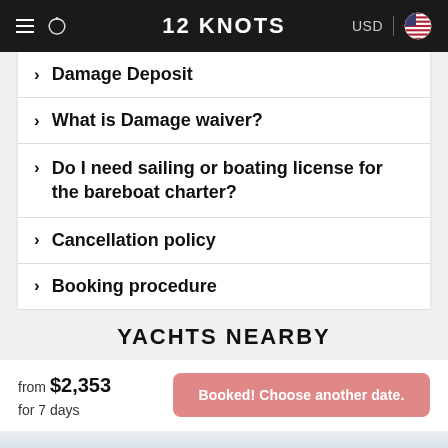12 KNOTS — USD
> Damage Deposit
> What is Damage waiver?
> Do I need sailing or boating license for the bareboat charter?
> Cancellation policy
> Booking procedure
YACHTS NEARBY
from $2,353 for 7 days
Booked! Choose another date.